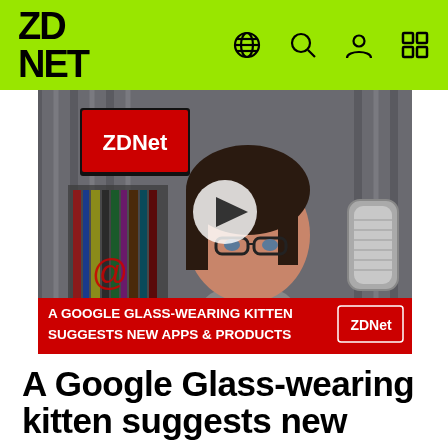ZDNET
[Figure (screenshot): Video thumbnail showing a woman with glasses in a home studio, with a ZDNet logo on a monitor in the background and a microphone in the foreground. A red lower-third banner reads: A GOOGLE GLASS-WEARING KITTEN SUGGESTS NEW APPS & PRODUCTS, with the ZDNet logo on the right. A white play button circle is centered on the image.]
A Google Glass-wearing kitten suggests new apps & products